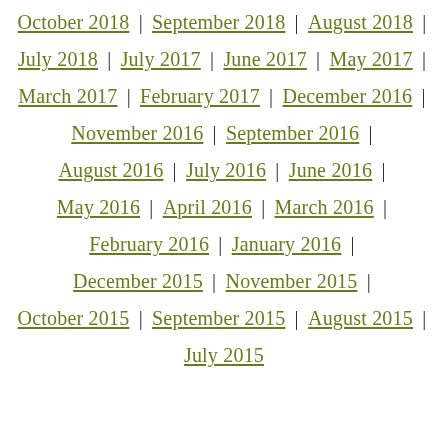October 2018 | September 2018 | August 2018 |
July 2018 | July 2017 | June 2017 | May 2017 |
March 2017 | February 2017 | December 2016 |
November 2016 | September 2016 |
August 2016 | July 2016 | June 2016 |
May 2016 | April 2016 | March 2016 |
February 2016 | January 2016 |
December 2015 | November 2015 |
October 2015 | September 2015 | August 2015 |
July 2015